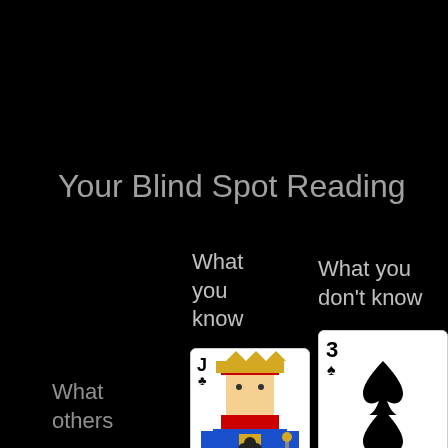Your Blind Spot Reading
What you know
What you don't know
[Figure (illustration): Jack of Clubs playing card, face card with J and club symbol, colorful court card illustration]
[Figure (illustration): Three of Spades playing card showing 3 and spade symbol with two large spade pips on face]
What others